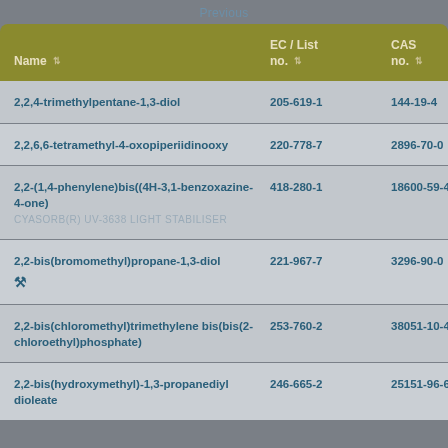Previous
| Name | EC / List no. | CAS no. |
| --- | --- | --- |
| 2,2,4-trimethylpentane-1,3-diol | 205-619-1 | 144-19-4 |
| 2,2,6,6-tetramethyl-4-oxopiperiidinooxy | 220-778-7 | 2896-70-0 |
| 2,2-(1,4-phenylene)bis((4H-3,1-benzoxazine-4-one)
CYASORB(R) UV-3638 LIGHT STABILISER | 418-280-1 | 18600-59-4 |
| 2,2-bis(bromomethyl)propane-1,3-diol | 221-967-7 | 3296-90-0 |
| 2,2-bis(chloromethyl)trimethylene bis(bis(2-chloroethyl)phosphate) | 253-760-2 | 38051-10-4 |
| 2,2-bis(hydroxymethyl)-1,3-propanediyl dioleate | 246-665-2 | 25151-96-6 |